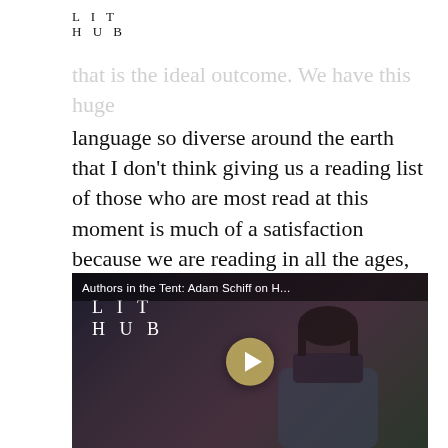LIT HUB
that is the ideal outcome. We have this huge language so diverse around the earth that I don't think giving us a reading list of those who are most read at this moment is much of a satisfaction because we are reading in all the ages, which have been an immense inspiration and love to me and are such an excitement.
[Figure (screenshot): Video thumbnail for 'Authors in the Tent: Adam Schiff on H...' featuring a woman with dark hair looking down, with the Lit Hub logo overlaid on the left and a play button in the center]